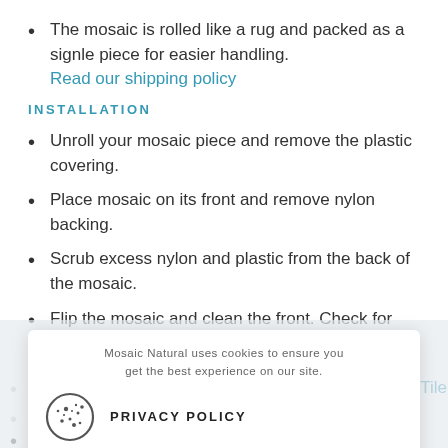The mosaic is rolled like a rug and packed as a signle piece for easier handling. Read our shipping policy
INSTALLATION
Unroll your mosaic piece and remove the plastic covering.
Place mosaic on its front and remove nylon backing.
Scrub excess nylon and plastic from the back of the mosaic.
Flip the mosaic and clean the front. Check for missing tiles.
Choose adhesive to use depending on the surface. Tile adhesive...
install the mosaic directly as you would install any other tile.
Mosaic Natural uses cookies to ensure you get the best experience on our site.
PRIVACY POLICY
Close